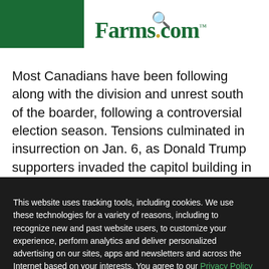Farms.com — SIGN IN ☰
Most Canadians have been following along with the division and unrest south of the boarder, following a controversial election season. Tensions culminated in insurrection on Jan. 6, as Donald Trump supporters invaded the capitol building in DC, where Congress had convened to
This website uses tracking tools, including cookies. We use these technologies for a variety of reasons, including to recognize new and past website users, to customize your experience, perform analytics and deliver personalized advertising on our sites, apps and newsletters and across the Internet based on your interests. You agree to our Privacy Policy and Terms of Access by clicking I agree.